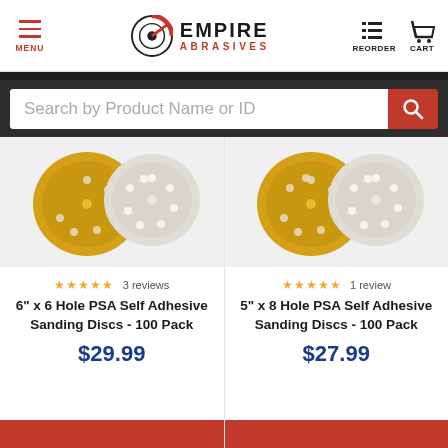[Figure (screenshot): Empire Abrasives website navigation bar with hamburger menu, logo, reorder and cart icons]
Search by Product Name or ID
[Figure (photo): 6 inch x 6 Hole PSA Self Adhesive Sanding Discs - gold and white disc product image]
3 reviews
6" x 6 Hole PSA Self Adhesive Sanding Discs - 100 Pack
$29.99
[Figure (photo): 5 inch x 8 Hole PSA Self Adhesive Sanding Discs - gold and white disc product image]
1 review
5" x 8 Hole PSA Self Adhesive Sanding Discs - 100 Pack
$27.99